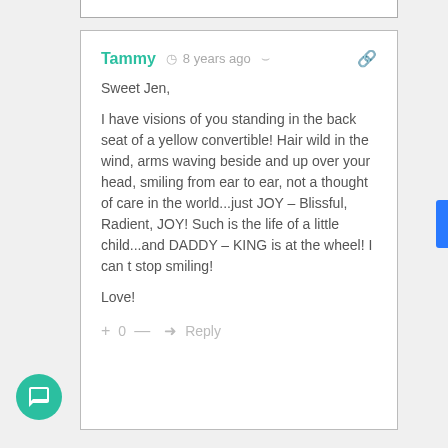Tammy  ⏱ 8 years ago  ⤴  🔗

Sweet Jen,

I have visions of you standing in the back seat of a yellow convertible! Hair wild in the wind, arms waving beside and up over your head, smiling from ear to ear, not a thought of care in the world...just JOY – Blissful, Radient, JOY! Such is the life of a little child...and DADDY – KING is at the wheel! I can t stop smiling!

Love!
+ 0 — → Reply